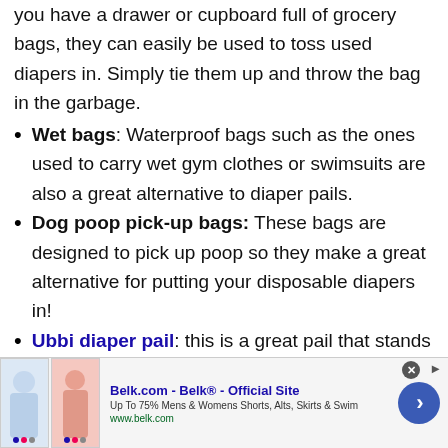you have a drawer or cupboard full of grocery bags, they can easily be used to toss used diapers in. Simply tie them up and throw the bag in the garbage.
Wet bags: Waterproof bags such as the ones used to carry wet gym clothes or swimsuits are also a great alternative to diaper pails.
Dog poop pick-up bags: These bags are designed to pick up poop so they make a great alternative for putting your disposable diapers in!
Ubbi diaper pail: this is a great pail that stands out with its steel construction which means it will
[Figure (other): Advertisement banner for Belk.com showing clothing images, text 'Belk.com - Belk® - Official Site', 'Up To 75% Mens & Womens Shorts, Alts, Skirts & Swim', 'www.belk.com', with navigation arrow button.]